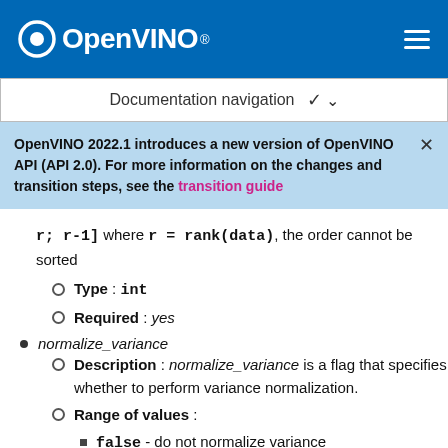OpenVINO
Documentation navigation
OpenVINO 2022.1 introduces a new version of OpenVINO API (API 2.0). For more information on the changes and transition steps, see the transition guide
r; r-1] where r = rank(data), the order cannot be sorted
Type : int
Required : yes
normalize_variance
Description : normalize_variance is a flag that specifies whether to perform variance normalization.
Range of values :
false - do not normalize variance
true - normalize variance